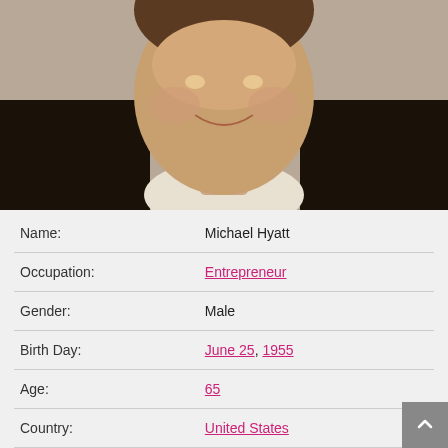[Figure (photo): Portrait photo of Michael Hyatt, a middle-aged man in a dark suit with a white shirt, smiling, photographed from roughly chest up against a neutral background.]
| Name: | Michael Hyatt |
| Occupation: | Entrepreneur |
| Gender: | Male |
| Birth Day: | June 25, 1955 |
| Age: | 65 |
| Country: | United States |
| Zodiac Sign: | Cancer |